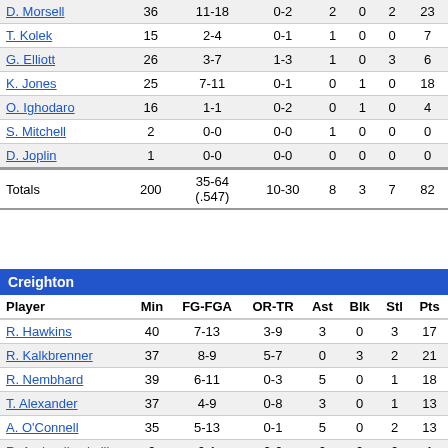| Player | Min | FG-FGA | OR-TR | Ast | Blk | Stl | Pts |
| --- | --- | --- | --- | --- | --- | --- | --- |
| D. Morsell | 36 | 11-18 | 0-2 | 2 | 0 | 2 | 23 |
| T. Kolek | 15 | 2-4 | 0-1 | 1 | 0 | 0 | 7 |
| G. Elliott | 26 | 3-7 | 1-3 | 1 | 0 | 3 | 6 |
| K. Jones | 25 | 7-11 | 0-1 | 0 | 1 | 0 | 18 |
| O. Ighodaro | 16 | 1-1 | 0-2 | 0 | 1 | 0 | 4 |
| S. Mitchell | 2 | 0-0 | 0-0 | 1 | 0 | 0 | 0 |
| D. Joplin | 1 | 0-0 | 0-0 | 0 | 0 | 0 | 0 |
| Totals | 200 | 35-64 (.547) | 10-30 | 8 | 3 | 7 | 82 |
| Player | Min | FG-FGA | OR-TR | Ast | Blk | Stl | Pts |
| --- | --- | --- | --- | --- | --- | --- | --- |
| R. Hawkins | 40 | 7-13 | 3-9 | 3 | 0 | 3 | 17 |
| R. Kalkbrenner | 37 | 8-9 | 5-7 | 0 | 3 | 2 | 21 |
| R. Nembhard | 39 | 6-11 | 0-3 | 5 | 0 | 1 | 18 |
| T. Alexander | 37 | 4-9 | 0-8 | 3 | 0 | 1 | 13 |
| A. O'Connell | 35 | 5-13 | 0-1 | 5 | 0 | 2 | 13 |
| R. Andronikashvili | 9 | 0-1 | 0-0 | 0 | 0 | 2 | 1 |